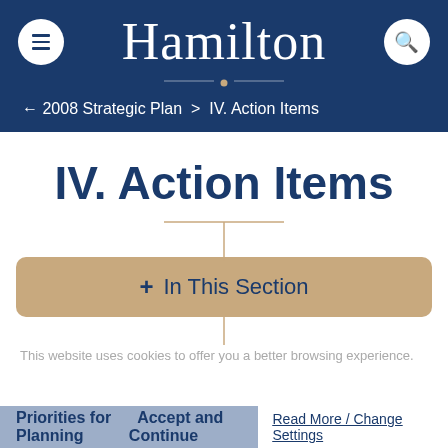Hamilton
← 2008 Strategic Plan > IV. Action Items
IV. Action Items
+ In This Section
This website uses cookies to offer you a better browsing experience.
Priorities for Planning  Accept and Continue  Read More / Change Settings